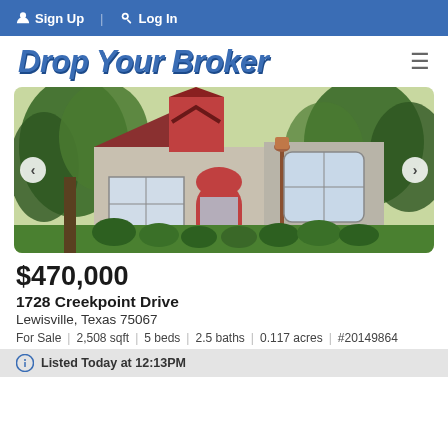Sign Up | Log In
Drop Your Broker
[Figure (photo): Exterior front view of a two-story brick home with red accents, arched red front door, large windows, lush green landscaping, and a lamp post in the yard.]
$470,000
1728 Creekpoint Drive
Lewisville, Texas 75067
For Sale | 2,508 sqft | 5 beds | 2.5 baths | 0.117 acres | #20149864
Listed Today at 12:13PM